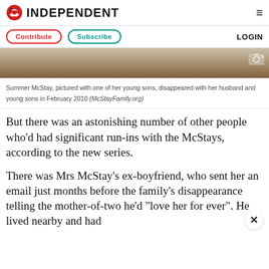INDEPENDENT
[Figure (photo): Summer McStay pictured with one of her young sons at rocky outdoor location, partial view cropped at top]
Summer McStay, pictured with one of her young sons, disappeared with her husband and young sons in February 2010 (McStayFamily.org)
But there was an astonishing number of other people who'd had significant run-ins with the McStays, according to the new series.
There was Mrs McStay's ex-boyfriend, who sent her an email just months before the family's disappearance telling the mother-of-two he'd "love her for ever". He lived nearby and had